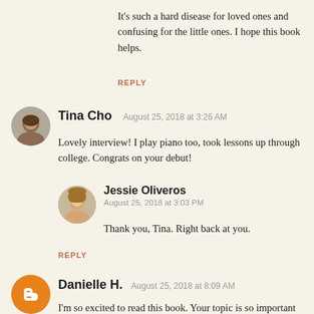It's such a hard disease for loved ones and confusing for the little ones. I hope this book helps.
REPLY
Tina Cho  August 25, 2018 at 3:26 AM
Lovely interview! I play piano too, took lessons up through college. Congrats on your debut!
Jessie Oliveros
August 25, 2018 at 3:03 PM
Thank you, Tina. Right back at you.
REPLY
Danielle H.  August 25, 2018 at 8:09 AM
I'm so excited to read this book. Your topic is so important and will help so many parents in this situation explain memory loss to their kids.